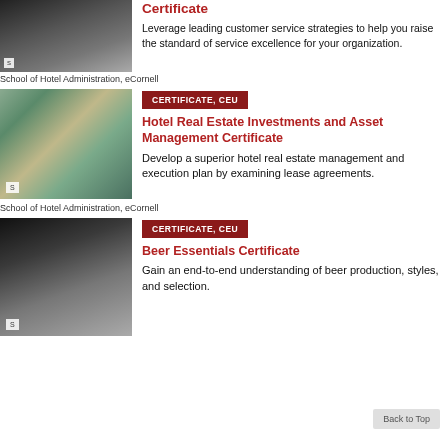[Figure (photo): Blurred silhouettes of people in a hallway or transit area]
Certificate
Leverage leading customer service strategies to help you raise the standard of service excellence for your organization.
School of Hotel Administration, eCornell
[Figure (photo): Hotel lobby or atrium with plants and glass walls]
CERTIFICATE, CEU
Hotel Real Estate Investments and Asset Management Certificate
Develop a superior hotel real estate management and execution plan by examining lease agreements.
School of Hotel Administration, eCornell
[Figure (photo): Close-up of beer tap or brewing equipment]
CERTIFICATE, CEU
Beer Essentials Certificate
Gain an end-to-end understanding of beer production, styles, and selection.